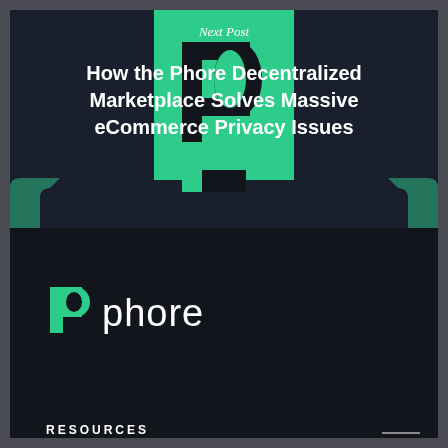Next Post
How the Phore Decentralized Marketplace Solves Massive eCommerce Privacy Issues
[Figure (logo): Phore logo: green P icon followed by wordmark 'phore' in white]
RESOURCES
Explorer